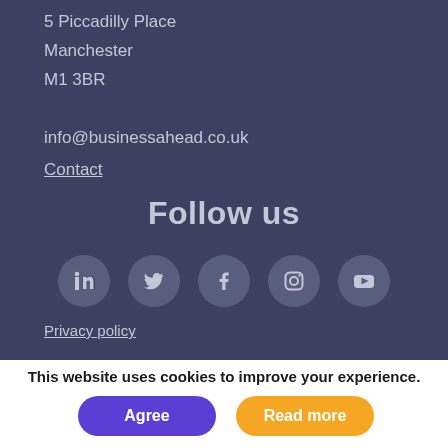5 Piccadilly Place
Manchester
M1 3BR
info@businessahead.co.uk
Contact
Follow us
[Figure (infographic): Five social media icons in circles: LinkedIn, Twitter, Facebook, Instagram, YouTube]
Privacy policy
This website uses cookies to improve your experience.
Agree
Read more